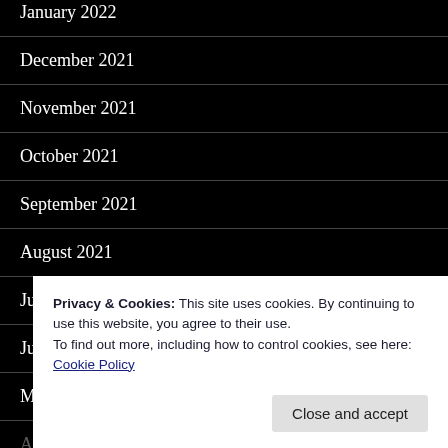January 2022
December 2021
November 2021
October 2021
September 2021
August 2021
July 2021
June 2021
May 2021
April 2021
March 2021
December 2020
Privacy & Cookies: This site uses cookies. By continuing to use this website, you agree to their use.
To find out more, including how to control cookies, see here:
Cookie Policy
Close and accept